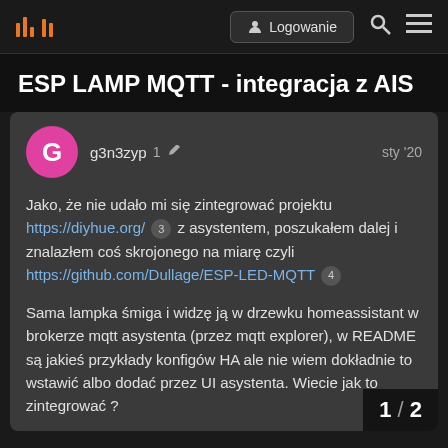Logowanie
ESP LAMP MQTT - integracja z AIS
g3n3zyp  1  sty '20
Jako, że nie udało mi się zintegrować projektu https://diyhue.org/ 3 z asystentem, poszukałem dalej i znalazłem coś skrojonego na miarę czyli https://github.com/Dullage/ESP-LED-MQTT 4

Sama lampka śmiga i widzę ją w drzewku homeassistant w brokerze mqtt asystenta (przez mqtt explorer), w README są jakieś przykłady konfigów HA ale nie wiem dokładnie to wstawić albo dodać przez UI asystenta. Wiecie jak to zintegrować ?
1 / 2